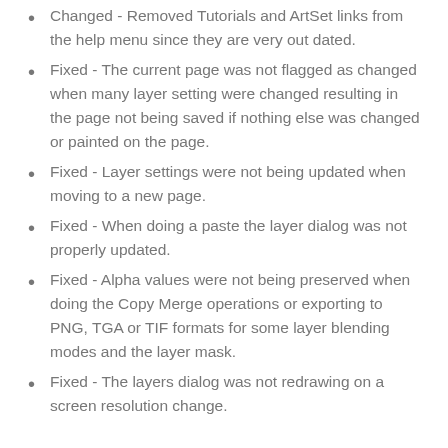Changed - Removed Tutorials and ArtSet links from the help menu since they are very out dated.
Fixed - The current page was not flagged as changed when many layer setting were changed resulting in the page not being saved if nothing else was changed or painted on the page.
Fixed - Layer settings were not being updated when moving to a new page.
Fixed - When doing a paste the layer dialog was not properly updated.
Fixed - Alpha values were not being preserved when doing the Copy Merge operations or exporting to PNG, TGA or TIF formats for some layer blending modes and the layer mask.
Fixed - The layers dialog was not redrawing on a screen resolution change.